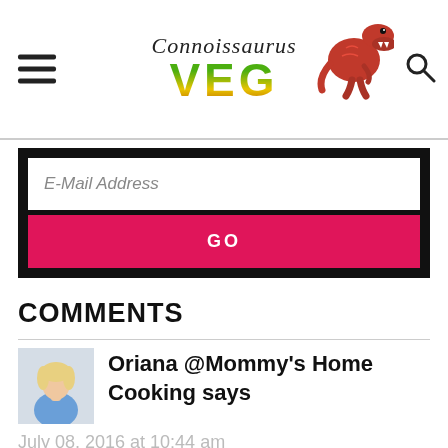Connoissaurus VEG
E-Mail Address
GO
COMMENTS
[Figure (photo): Avatar photo of Oriana, a woman with blonde hair]
Oriana @Mommy's Home Cooking says
July 08, 2016 at 10:44 am